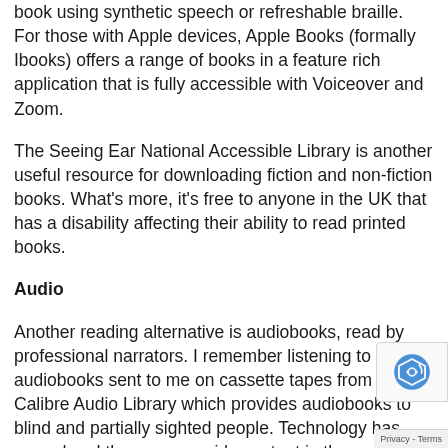book using synthetic speech or refreshable braille. For those with Apple devices, Apple Books (formally Ibooks) offers a range of books in a feature rich application that is fully accessible with Voiceover and Zoom.
The Seeing Ear National Accessible Library is another useful resource for downloading fiction and non-fiction books. What's more, it's free to anyone in the UK that has a disability affecting their ability to read printed books.
Audio
Another reading alternative is audiobooks, read by professional narrators. I remember listening to my first audiobooks sent to me on cassette tapes from the Calibre Audio Library which provides audiobooks to blind and partially sighted people. Technology has moved and they now provide content in the popular MP3 format, which can be played on many current tablet...